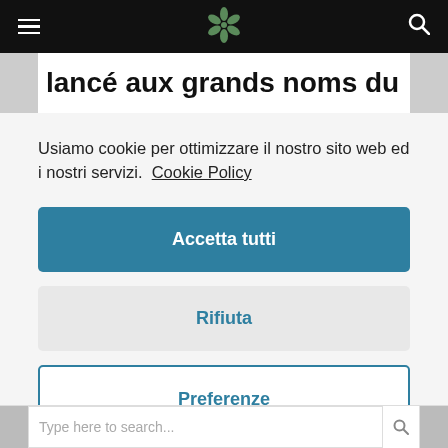[Figure (screenshot): Website navigation bar with hamburger menu icon on the left, a floral/botanical logo in the center, and a search icon on the right, all on a black background.]
lancé aux grands noms du
Usiamo cookie per ottimizzare il nostro sito web ed i nostri servizi.  Cookie Policy
Accetta tutti
Rifiuta
Preferenze
Type here to search...